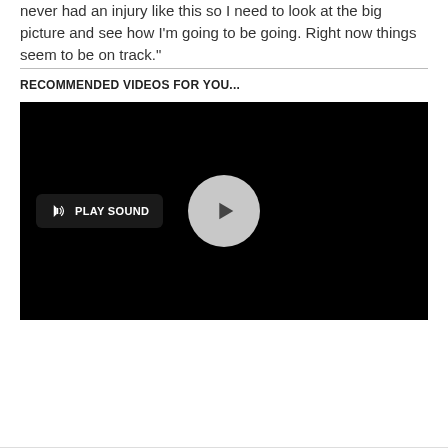never had an injury like this so I need to look at the big picture and see how I'm going to be going. Right now things seem to be on track."
RECOMMENDED VIDEOS FOR YOU...
[Figure (screenshot): Video player with black background, a 'PLAY SOUND' button on the left with a speaker icon, and a circular play button in the center.]